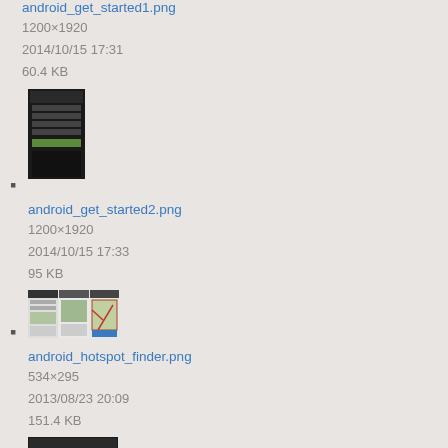android_get_started1.png
1200×1920
2014/10/15 17:31
60.4 KB
[Figure (screenshot): Thumbnail of android_get_started1.png showing a dark Android UI screen with form fields and a green button]
android_get_started2.png
1200×1920
2014/10/15 17:33
95 KB
[Figure (screenshot): Thumbnail of android_get_started2.png showing three Android app screens side by side with a map view]
android_hotspot_finder.png
534×295
2013/08/23 20:09
151.4 KB
[Figure (screenshot): Thumbnail of android_hotspot_finder.png showing a dark Android screen with media control icons]